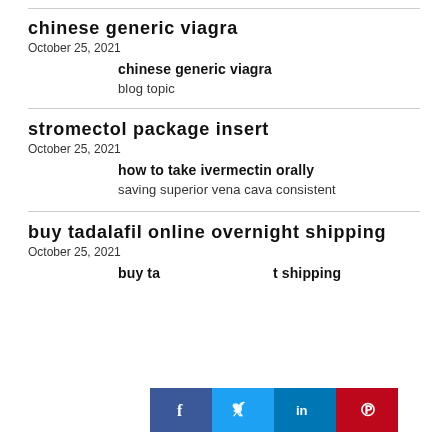chinese generic viagra
October 25, 2021
chinese generic viagra
blog topic
stromectol package insert
October 25, 2021
how to take ivermectin orally
saving superior vena cava consistent
buy tadalafil online overnight shipping
October 25, 2021
buy tadalafil online overnight shipping
[Figure (other): Social sharing bar with Facebook, Twitter, LinkedIn, and Pinterest icons overlaying the third article entry]